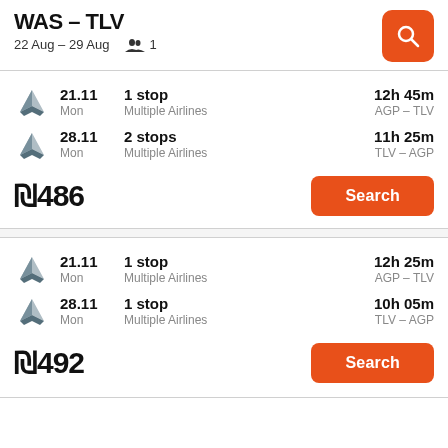WAS – TLV
22 Aug – 29 Aug   1
21.11 Mon | 1 stop | Multiple Airlines | 12h 45m | AGP – TLV
28.11 Mon | 2 stops | Multiple Airlines | 11h 25m | TLV – AGP
₪486  Search
21.11 Mon | 1 stop | Multiple Airlines | 12h 25m | AGP – TLV
28.11 Mon | 1 stop | Multiple Airlines | 10h 05m | TLV – AGP
₪492  Search